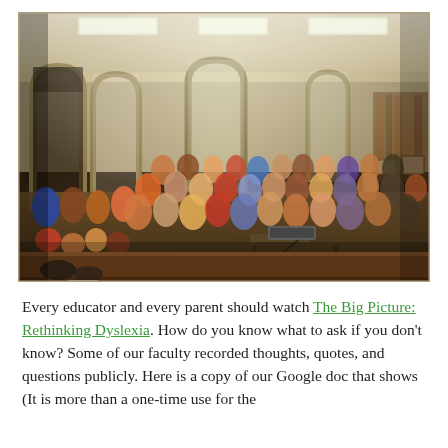[Figure (photo): A crowded library or community hall filled with adults and children seated in chairs and on the floor, watching a presentation. A projector sits on a table in the foreground. The room has arched windows and bookshelves along the walls.]
Every educator and every parent should watch The Big Picture: Rethinking Dyslexia. How do you know what to ask if you don't know? Some of our faculty recorded thoughts, quotes, and questions publicly. Here is a copy of our Google doc that shows (It is more than a one-time use for the...